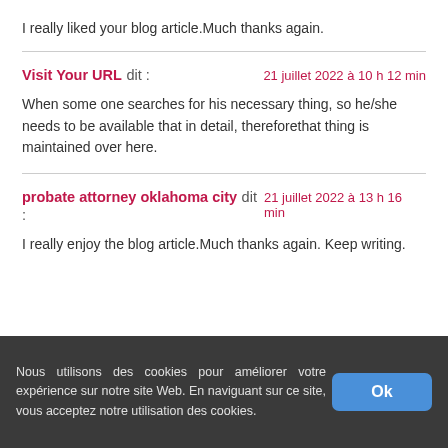I really liked your blog article.Much thanks again.
Visit Your URL dit : 21 juillet 2022 à 10 h 12 min
When some one searches for his necessary thing, so he/she needs to be available that in detail, thereforethat thing is maintained over here.
probate attorney oklahoma city dit : 21 juillet 2022 à 13 h 16 min
I really enjoy the blog article.Much thanks again. Keep writing.
Nous utilisons des cookies pour améliorer votre expérience sur notre site Web. En naviguant sur ce site, vous acceptez notre utilisation des cookies. Ok